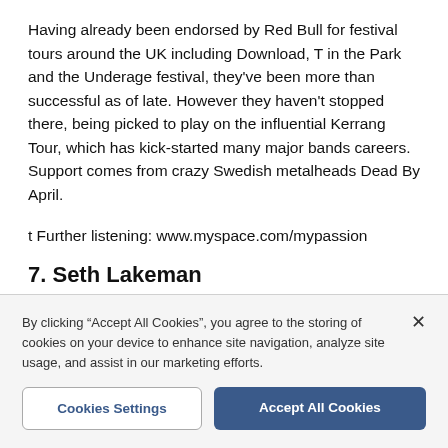Having already been endorsed by Red Bull for festival tours around the UK including Download, T in the Park and the Underage festival, they've been more than successful as of late. However they haven't stopped there, being picked to play on the influential Kerrang Tour, which has kick-started many major bands careers. Support comes from crazy Swedish metalheads Dead By April.
t Further listening: www.myspace.com/mypassion
7. Seth Lakeman
By clicking "Accept All Cookies", you agree to the storing of cookies on your device to enhance site navigation, analyze site usage, and assist in our marketing efforts.